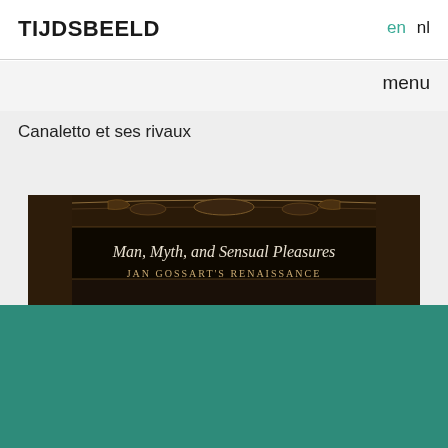TIJDSBEELD   en   nl
menu
Canaletto et ses rivaux
[Figure (photo): Book cover showing ornate baroque frame with text 'Man, Myth, and Sensual Pleasures' and 'Jan Gossart's Renaissance' on dark background]
We use cookies to enhance your user experience...
OK